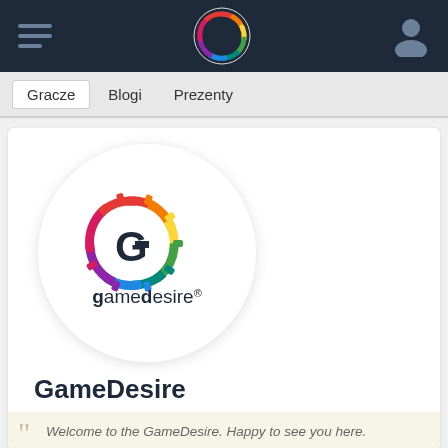GameDesire navigation bar with hamburger menu, logo, and user icon
Gracze  Blogi  Prezenty
[Figure (logo): GameDesire circular logo with colorful gear/G icon and 'gamedesire' wordmark inside a white circle on a profile card]
GameDesire
Rejestracja: 2002-10-21
Welcome to the GameDesire. Happy to see you here.